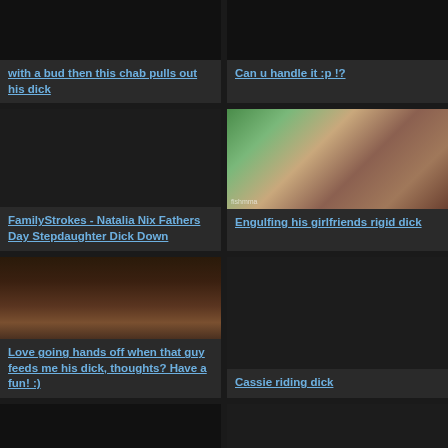[Figure (photo): Partial dark video thumbnail at top]
with a bud then this chab pulls out his dick
[Figure (photo): Partial dark video thumbnail at top]
Can u handle it :p !?
[Figure (photo): Dark video thumbnail]
FamilyStrokes - Natalia Nix Fathers Day Stepdaughter Dick Down
[Figure (photo): Photo showing two people]
Engulfing his girlfriends rigid dick
[Figure (photo): Close up photo of hands]
Love going hands off when that guy feeds me his dick, thoughts? Have a fun! :)
[Figure (photo): Dark video thumbnail]
Cassie riding dick
[Figure (photo): Partial dark thumbnail at bottom]